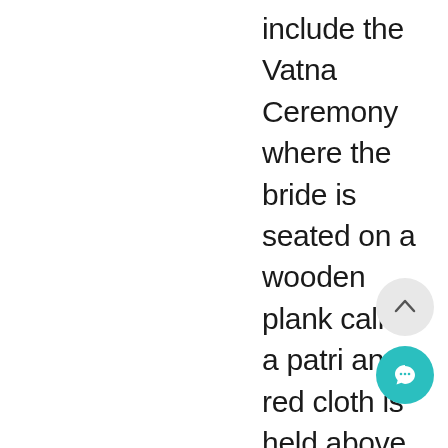include the Vatna Ceremony where the bride is seated on a wooden plank called a patri and a red cloth is held above by four female relatives. The Vatna Ceremony is also known as the Haldi Ceremony. Female relatives of the bride or groom then take turn in applying a tumeric, flour and mustard oil mixture called vatna over their body. During the ritual women will sing traditional songs. The Mehndi Ceremony is the Punjabi equivalent to the western tradition of the Hens Party. So you will be in for a tr should you be fortunate to attend.